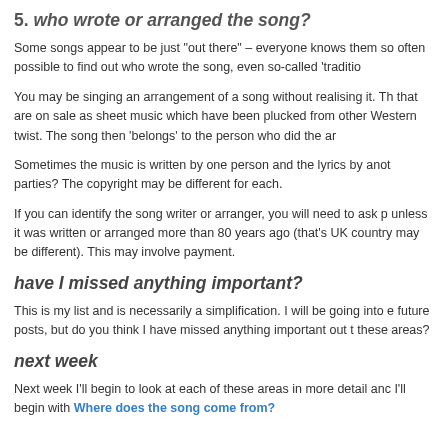5. Who wrote or arranged the song?
Some songs appear to be just “out there” – everyone knows them so often possible to find out who wrote the song, even so-called ‘traditio
You may be singing an arrangement of a song without realising it. Th that are on sale as sheet music which have been plucked from other Western twist. The song then ‘belongs’ to the person who did the ar
Sometimes the music is written by one person and the lyrics by anot parties? The copyright may be different for each.
If you can identify the song writer or arranger, you will need to ask p unless it was written or arranged more than 80 years ago (that’s UK country may be different). This may involve payment.
have I missed anything important?
This is my list and is necessarily a simplification. I will be going into e future posts, but do you think I have missed anything important out t these areas?
next week
Next week I’ll begin to look at each of these areas in more detail anc I’ll begin with Where does the song come from?